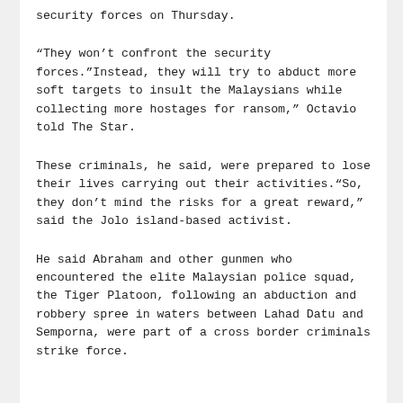security forces on Thursday.
“They won’t confront the security forces.”Instead, they will try to abduct more soft targets to insult the Malaysians while collecting more hostages for ransom,” Octavio told The Star.
These criminals, he said, were prepared to lose their lives carrying out their activities.“So, they don’t mind the risks for a great reward,” said the Jolo island-based activist.
He said Abraham and other gunmen who encountered the elite Malaysian police squad, the Tiger Platoon, following an abduction and robbery spree in waters between Lahad Datu and Semporna, were part of a cross border criminals strike force.